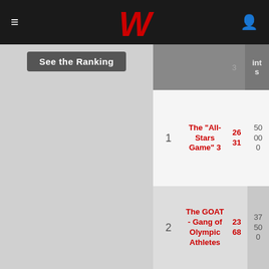W
See the Ranking
|  |  | 3 | ints |
| --- | --- | --- | --- |
| 1 | The "All-Stars Game" 3 | 2631 | 5000 0 |
| 2 | The GOAT - Gang of Olympic Athletes | 2368 | 3750 0 |